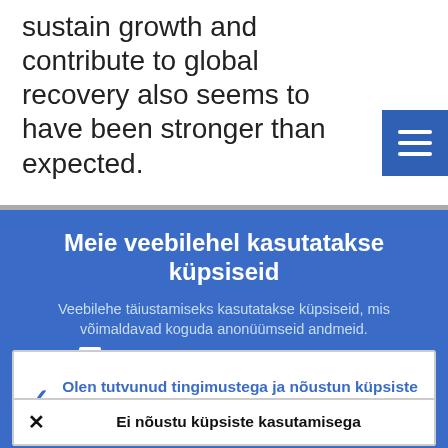sustain growth and contribute to global recovery also seems to have been stronger than expected.
[Figure (screenshot): Hamburger menu icon button (three horizontal white lines on blue background)]
Meie veebilehel kasutatakse küpsiseid
Veebilehe täiustamiseks kasutatakse küpsiseid, mis võimaldavad koguda anonüümseid andmeid.
› Lähemalt küpsiste kasutamise kohta
✓ Olen tutvunud tingimustega ja nõustun küpsiste kasutamisega
✕ Ei nõustu küpsiste kasutamisega